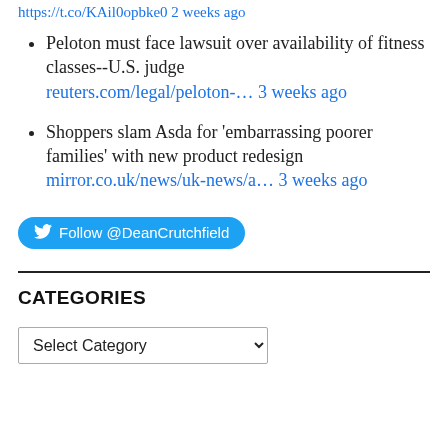https://t.co/KAil0opbke0 2 weeks ago
Peloton must face lawsuit over availability of fitness classes--U.S. judge reuters.com/legal/peloton-... 3 weeks ago
Shoppers slam Asda for 'embarrassing poorer families' with new product redesign mirror.co.uk/news/uk-news/a... 3 weeks ago
Follow @DeanCrutchfield
CATEGORIES
Select Category